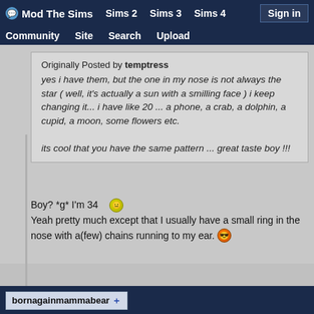Mod The Sims | Sims 2 | Sims 3 | Sims 4 | Sign in | Community | Site | Search | Upload
Originally Posted by temptress
yes i have them, but the one in my nose is not always the star ( well, it's actually a sun with a smilling face ) i keep changing it... i have like 20 ... a phone, a crab, a dolphin, a cupid, a moon, some flowers etc.

its cool that you have the same pattern ... great taste boy !!!
Boy? *g* I'm 34
Yeah pretty much except that I usually have a small ring in the nose with a(few) chains running to my ear.
bornagainmammabear